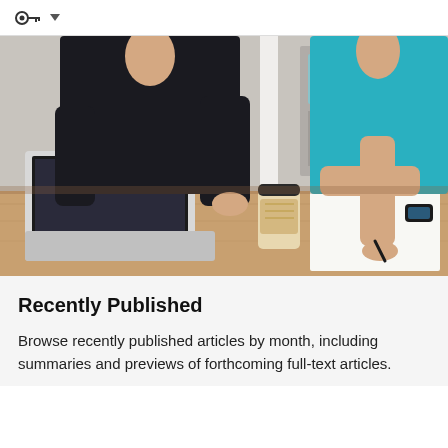[Figure (photo): Two women standing at a wooden desk in an office setting. One woman wearing black is holding a small object; the other wearing a teal top is writing on a notepad with a pen. A laptop and a takeaway coffee cup are on the desk.]
Recently Published
Browse recently published articles by month, including summaries and previews of forthcoming full-text articles.